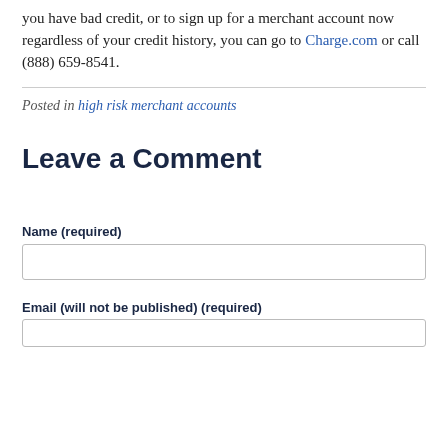you have bad credit, or to sign up for a merchant account now regardless of your credit history, you can go to Charge.com or call (888) 659-8541.
Posted in high risk merchant accounts
Leave a Comment
Name (required)
Email (will not be published) (required)